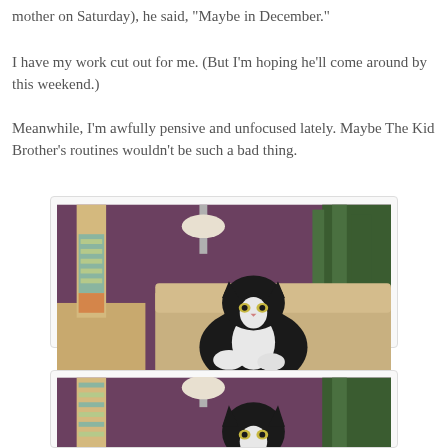mother on Saturday), he said, "Maybe in December."
I have my work cut out for me. (But I'm hoping he'll come around by this weekend.)
Meanwhile, I'm awfully pensive and unfocused lately. Maybe The Kid Brother's routines wouldn't be such a bad thing.
[Figure (photo): A black and white tuxedo cat resting on a beige/tan sofa, looking at the camera. Behind the cat is a purple wall, a cat tree/scratching post on the left, a lamp, and green plants on the right.]
MUSY HAS ALSO BEEN VERY PENSIVE LATELY.
[Figure (photo): Another photo of the same black and white tuxedo cat, partially cropped at the bottom of the page, similar setting with the cat tree and purple wall visible.]